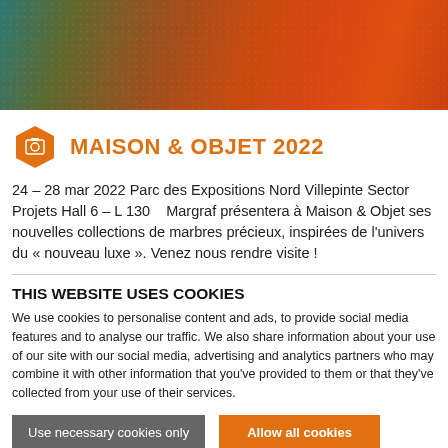[Figure (illustration): Decorative header banner with gradient from teal/green on left to orange/red on right, with dot pattern overlay]
MAISON & OBJET 2022
24 – 28 mar 2022 Parc des Expositions Nord Villepinte Sector Projets Hall 6 – L 130   Margraf présentera à Maison & Objet ses nouvelles collections de marbres précieux, inspirées de l'univers du « nouveau luxe ». Venez nous rendre visite !
THIS WEBSITE USES COOKIES
We use cookies to personalise content and ads, to provide social media features and to analyse our traffic. We also share information about your use of our site with our social media, advertising and analytics partners who may combine it with other information that you've provided to them or that they've collected from your use of their services.
Use necessary cookies only
Allow all cookies
Show details